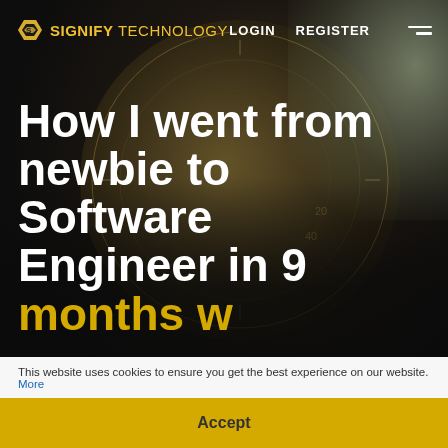[Figure (screenshot): Website screenshot of Signify Technology with a blurred dark background showing a hand holding a compass/combination lock. Navigation bar at top with logo, LOGIN, REGISTER links and hamburger menu. Large white bold headline text partially visible reading 'How I went from newbie to Software Engineer in 9 months while'. Cookie consent bar at bottom with Accept button.]
SIGNIFY TECHNOLOGY  LOGIN  REGISTER
How I went from newbie to Software Engineer in 9 months while
This website uses cookies to ensure you get the best experience on our website. More
Accept